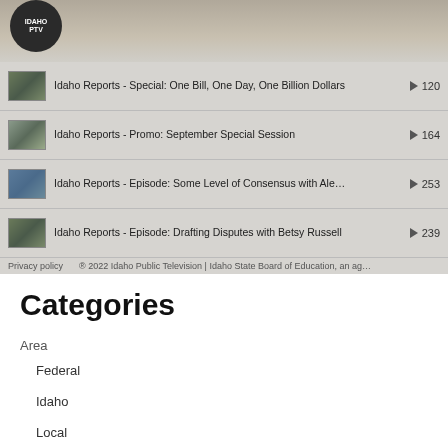[Figure (screenshot): Top portion of a video playlist interface with thumbnail images showing Idaho Reports episodes]
Idaho Reports - Special: One Bill, One Day, One Billion Dollars ▶ 120
Idaho Reports - Promo: September Special Session ▶ 164
Idaho Reports - Episode: Some Level of Consensus with Ale… ▶ 253
Idaho Reports - Episode: Drafting Disputes with Betsy Russell ▶ 239
Privacy policy   ® 2022 Idaho Public Television | Idaho State Board of Education, an ag…
Categories
Area
Federal
Idaho
Local
Central Idaho